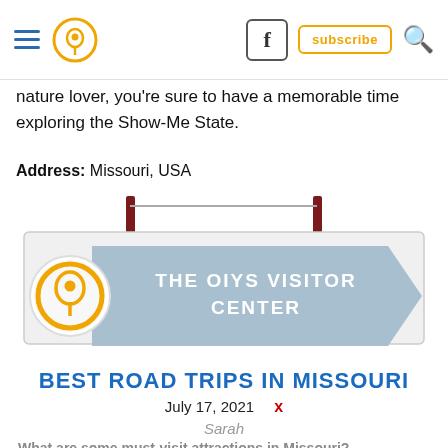Navigation header with hamburger menu, pin logo, Facebook icon, subscribe button, search icon
nature lover, you're sure to have a memorable time exploring the Show-Me State.
Address: Missouri, USA
[Figure (infographic): The OIYS Visitor Center sign — a directional arrow sign in light blue with a gold map pin logo on a white banner panel suspended by two dark red poles]
BEST ROAD TRIPS IN MISSOURI
July 17, 2021
Sarah
What are some must-visit attractions in Missouri?
The above list of the best road trips in Missouri certainly